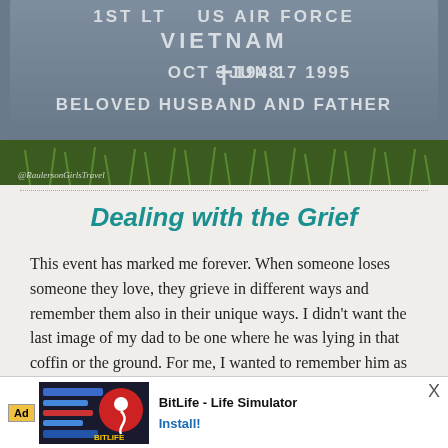[Figure (photo): Close-up photo of a military gravestone/headstone engraved with '1ST LT  US AIR FORCE  VIETNAM  OCT 3 1948  + JUN 17 1995  BELOVED HUSBAND AND FATHER'. Watermark reads '@RaulersonGirlsTravel'. Stone is grey with grass around it.]
Dealing with the Grief
This event has marked me forever. When someone loses someone they love, they grieve in different ways and remember them also in their unique ways. I didn't want the last image of my dad to be one where he was lying in that coffin or the ground. For me, I wanted to remember him as the laughing goofball that tickled u
[Figure (screenshot): Mobile advertisement banner for 'BitLife - Life Simulator' app. Shows Ad label, app icon with sperm emoji on red/black background, app name, and Install! button.]